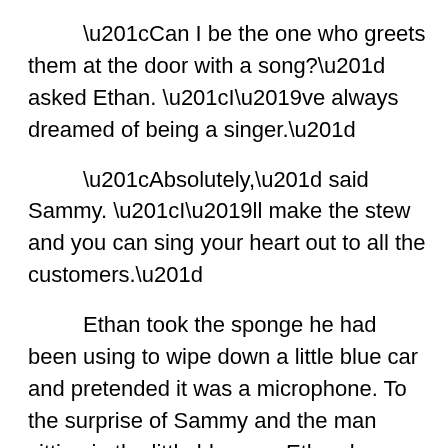“Can I be the one who greets them at the door with a song?” asked Ethan. “I’ve always dreamed of being a singer.”
“Absolutely,” said Sammy. “I’ll make the stew and you can sing your heart out to all the customers.”
Ethan took the sponge he had been using to wipe down a little blue car and pretended it was a microphone. To the surprise of Sammy and the man sitting in the little blue car, Ethan began to sing:
“Our days here,